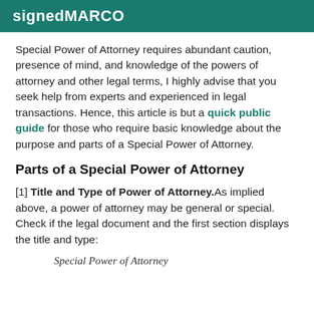signedMARCO
Special Power of Attorney requires abundant caution, presence of mind, and knowledge of the powers of attorney and other legal terms, I highly advise that you seek help from experts and experienced in legal transactions. Hence, this article is but a quick public guide for those who require basic knowledge about the purpose and parts of a Special Power of Attorney.
Parts of a Special Power of Attorney
[1] Title and Type of Power of Attorney. As implied above, a power of attorney may be general or special. Check if the legal document and the first section displays the title and type:
Special Power of Attorney